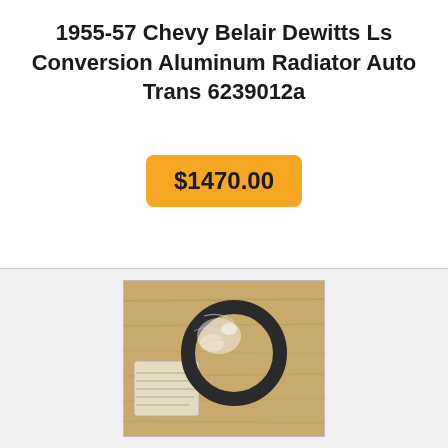1955-57 Chevy Belair Dewitts Ls Conversion Aluminum Radiator Auto Trans 6239012a
$1470.00
[Figure (photo): Photo of a packaged circular automotive hose or clamp part (appears to be a radiator hose or similar) wrapped in plastic, placed on a wooden surface with a label/tag visible.]